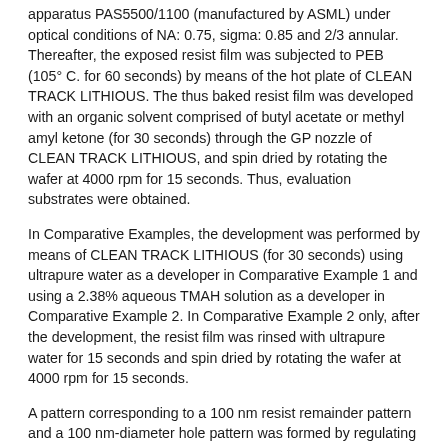apparatus PAS5500/1100 (manufactured by ASML) under optical conditions of NA: 0.75, sigma: 0.85 and 2/3 annular. Thereafter, the exposed resist film was subjected to PEB (105° C. for 60 seconds) by means of the hot plate of CLEAN TRACK LITHIOUS. The thus baked resist film was developed with an organic solvent comprised of butyl acetate or methyl amyl ketone (for 30 seconds) through the GP nozzle of CLEAN TRACK LITHIOUS, and spin dried by rotating the wafer at 4000 rpm for 15 seconds. Thus, evaluation substrates were obtained.
In Comparative Examples, the development was performed by means of CLEAN TRACK LITHIOUS (for 30 seconds) using ultrapure water as a developer in Comparative Example 1 and using a 2.38% aqueous TMAH solution as a developer in Comparative Example 2. In Comparative Example 2 only, after the development, the resist film was rinsed with ultrapure water for 15 seconds and spin dried by rotating the wafer at 4000 rpm for 15 seconds.
A pattern corresponding to a 100 nm resist remainder pattern and a 100 nm-diameter hole pattern was formed by regulating the exposure amount, thereby obtaining an evaluation substrate. The hole diameter of the resist pattern was observed by means of a scanning electron microscope (model S-9380 manufactured by Hitachi Instruments).
The enhancement of pattern fineness by the formation of a crosslinked